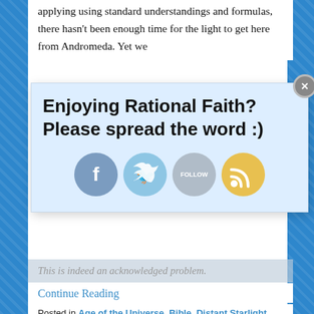applying using standard understandings and formulas, there hasn't been enough time for the light to get here from Andromeda. Yet we
[Figure (infographic): Popup overlay with text 'Enjoying Rational Faith? Please spread the word :)' and social media icons for Facebook, Twitter, Follow, and RSS]
This is indeed an acknowledged problem.
Continue Reading
Posted in Age of the Universe, Bible, Distant Starlight, Horizon problem, Science, Young Earth | Tagged Barry Setterfield, Jason Lisle, John D. Morris, John Hartnett, Kent Hovind, Russell Humphreys